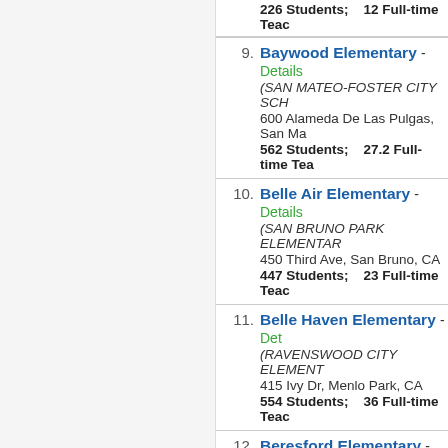226 Students; 12 Full-time Teachers (partial, continued from previous)
9. Baywood Elementary - Details
(SAN MATEO-FOSTER CITY SCH...)
600 Alameda De Las Pulgas, San Ma...
562 Students; 27.2 Full-time Tea...
10. Belle Air Elementary - Details
(SAN BRUNO PARK ELEMENTARY...)
450 Third Ave, San Bruno, CA
447 Students; 23 Full-time Teach...
11. Belle Haven Elementary - Det...
(RAVENSWOOD CITY ELEMENT...)
415 Ivy Dr, Menlo Park, CA
554 Students; 36 Full-time Teach...
12. Beresford Elementary - Details
(SAN MATEO-FOSTER CITY SCH...)
300 28Th Ave, San Mateo, CA
251 Students; 12 Full-time Teach...
13. Brewer Island Elementary - D...